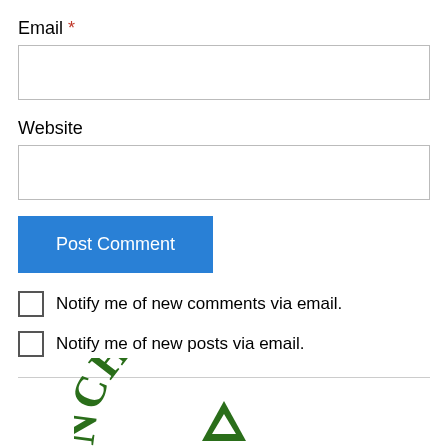Email *
Website
Post Comment
Notify me of new comments via email.
Notify me of new posts via email.
[Figure (logo): Partial circular logo with green text reading 'NCHINHAMP' (part of MINCHINHAMPTION or similar) with a green triangle/tree emblem in the center]